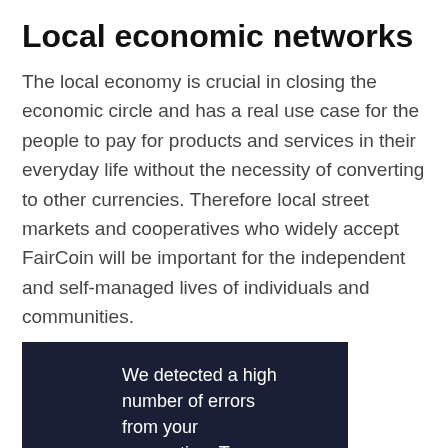Local economic networks
The local economy is crucial in closing the economic circle and has a real use case for the people to pay for products and services in their everyday life without the necessity of converting to other currencies. Therefore local street markets and cooperatives who widely accept FairCoin will be important for the independent and self-managed lives of individuals and communities.
[Figure (screenshot): Vimeo error overlay on dark navy background. Text reads: 'We detected a high number of errors from your connection. To continue, please confirm that youâ€™re a human (and not a spambot).' The Vimeo logo appears at the bottom. A grey scroll button with an up arrow is visible at lower right.]